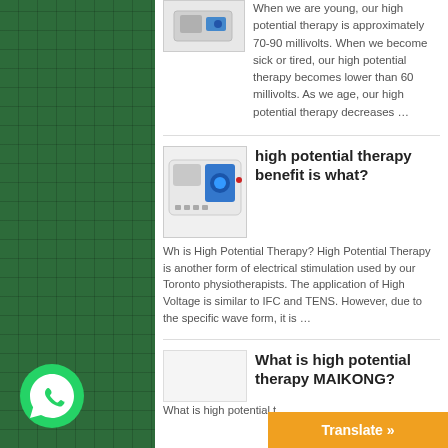When we are young, our high potential therapy is approximately 70-90 millivolts. When we become sick or tired, our high potential therapy becomes lower than 60 millivolts. As we age, our high potential therapy decreases ...
[Figure (photo): Small thumbnail image of a high potential therapy device (partially visible at top)]
high potential therapy benefit is what?
[Figure (photo): White medical device for high potential therapy with blue control panel]
Wh is High Potential Therapy? High Potential Therapy is another form of electrical stimulation used by our Toronto physiotherapists. The application of High Voltage is similar to IFC and TENS. However, due to the specific wave form, it is ...
What is high potential therapy MAIKONG?
What is high potential t
[Figure (logo): WhatsApp green circular icon]